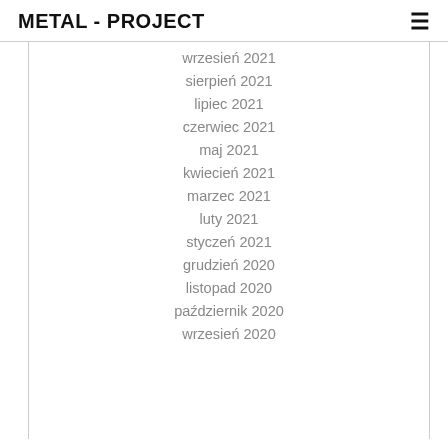METAL - PROJECT
wrzesień 2021
sierpień 2021
lipiec 2021
czerwiec 2021
maj 2021
kwiecień 2021
marzec 2021
luty 2021
styczeń 2021
grudzień 2020
listopad 2020
październik 2020
wrzesień 2020